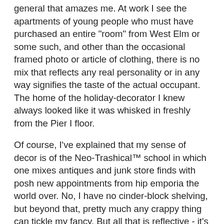general that amazes me. At work I see the apartments of young people who must have purchased an entire "room" from West Elm or some such, and other than the occasional framed photo or article of clothing, there is no mix that reflects any real personality or in any way signifies the taste of the actual occupant. The home of the holiday-decorator I knew always looked like it was whisked in freshly from the Pier I floor.
Of course, I've explained that my sense of decor is of the Neo-Trashical™ school in which one mixes antiques and junk store finds with posh new appointments from hip emporia the world over. No, I have no cinder-block shelving, but beyond that, pretty much any crappy thing can tickle my fancy. But all that is reflective - it's not who I am, but symbolic of my craving for variety and texture, and though I might move things occasionally or add something to the mix once in a great while, it's part of home and if you took my stuff out and beamed in a showroom-full of "perfect" furnishings from Horchow or Ligne-Roset or wherever - I'd walk in, feel a chill and immediately say "where's all my shit?!!!" and promptly vent hella spleen on all responsible